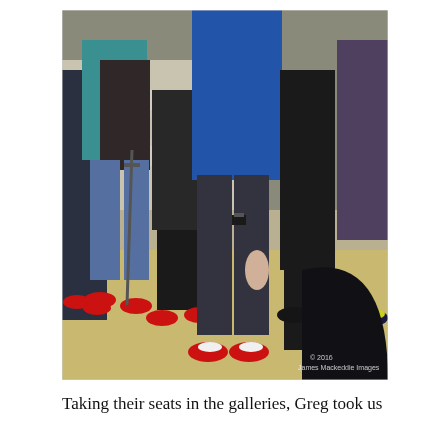[Figure (photo): A group of people standing indoors, most wearing bright red running shoes. Several people wear athletic jackets in blue, teal, and dark colors. One person in the foreground wears dark jeans and a blue Salomon jacket with red and white shoes. One person uses a crutch. In the background, tiered stone seating is visible. A watermark in the bottom right reads '© 2016 James Mackeddie Images'.]
Taking their seats in the galleries, Greg took us